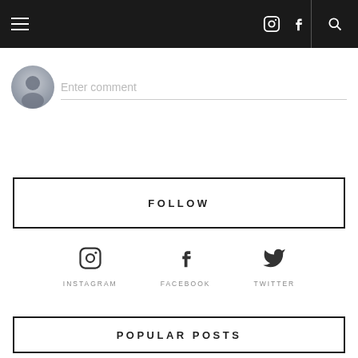Navigation bar with hamburger menu, Instagram icon, Facebook icon, search icon
[Figure (screenshot): User avatar placeholder circle with person silhouette]
Enter comment
FOLLOW
[Figure (infographic): Social media icons: Instagram camera icon, Facebook f icon, Twitter bird icon with labels INSTAGRAM, FACEBOOK, TWITTER]
POPULAR POSTS